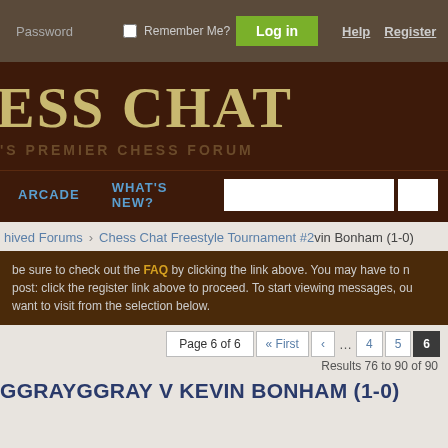Password   Remember Me?   Log in   Help   Register
ESS CHAT
'S PREMIER CHESS FORUM
ARCADE   WHAT'S NEW?
hived Forums   Chess Chat Freestyle Tournament #2   vin Bonham (1-0)
be sure to check out the FAQ by clicking the link above. You may have to n post: click the register link above to proceed. To start viewing messages, ou want to visit from the selection below.
Page 6 of 6   First   4   5   6   Results 76 to 90 of 90
GGRAYGGRAY V KEVIN BONHAM (1-0)